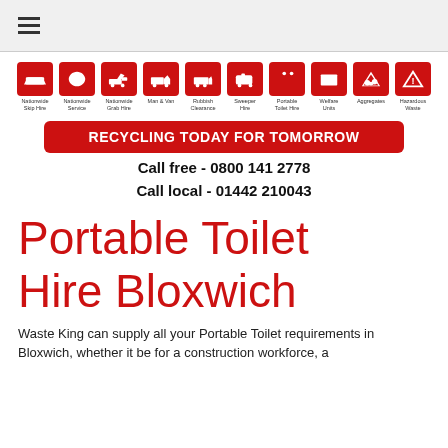≡
[Figure (infographic): Row of 10 red icon boxes representing services: Nationwide Skip Hire, Nationwide Service, Nationwide Grab Hire, Man & Van, Rubbish Clearance, Sweeper Hire, Portable Toilet Hire, Welfare Units, Aggregates, Hazardous Waste]
RECYCLING TODAY FOR TOMORROW
Call free  - 0800 141 2778
Call local - 01442 210043
Portable Toilet Hire Bloxwich
Waste King can supply all your Portable Toilet requirements in Bloxwich, whether it be for a construction workforce, a